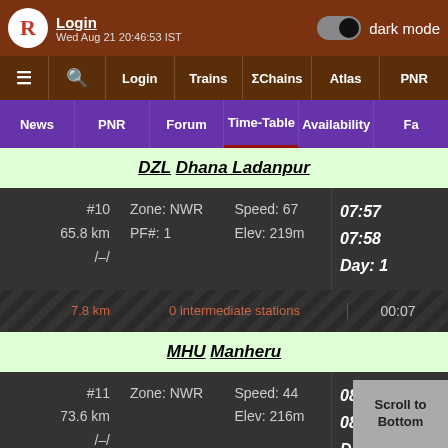Login | dark mode | Wed Aug 21 20:46:59 IST
≡ 🔍 Login | Trains | ΣChains | Atlas | PNR
News | PNR | Forum | Time-Table | Availability | Fa
DZL Dhana Ladanpur
| Stop | Zone/PF | Speed/Elev | Time |
| --- | --- | --- | --- |
| #10
65.8 km
/–/ | Zone: NWR
PF#: 1 | Speed: 67
Elev: 219m | 07:57
07:58
Day: 1 |
7.8 km | 0 intermediate stations | 00:07
MHU Manheru
| Stop | Zone/PF | Speed/Elev | Time |
| --- | --- | --- | --- |
| #11
73.6 km
/–/ | Zone: NWR | Speed: 44
Elev: 216m | 08:05
08:07
Day: 1 |
6.6 km | 0 intermediate stations | 00:09
FGH Fatehgarh Haryana
| Stop | Zone/PF | Speed/Elev | Time |
| --- | --- | --- | --- |
| #12 | Zone: NWR | Speed: 58 | 0... |